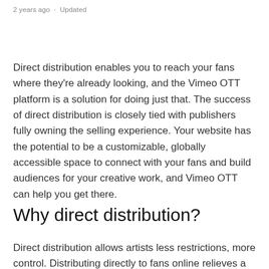2 years ago · Updated
Direct distribution enables you to reach your fans where they're already looking, and the Vimeo OTT platform is a solution for doing just that. The success of direct distribution is closely tied with publishers fully owning the selling experience. Your website has the potential to be a customizable, globally accessible space to connect with your fans and build audiences for your creative work, and Vimeo OTT can help you get there.
Why direct distribution?
Direct distribution allows artists less restrictions, more control. Distributing directly to fans online relieves a lot of